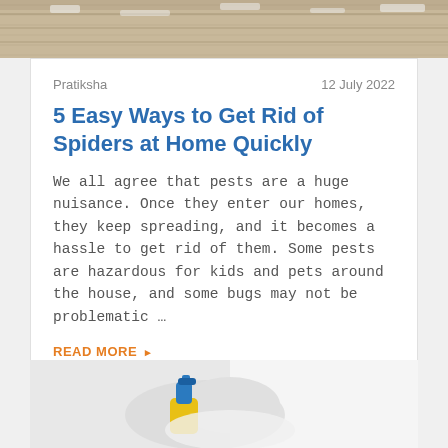[Figure (photo): Top portion of an image showing a wooden surface with some whitish granular material on it]
Pratiksha
12 July 2022
5 Easy Ways to Get Rid of Spiders at Home Quickly
We all agree that pests are a huge nuisance. Once they enter our homes, they keep spreading, and it becomes a hassle to get rid of them. Some pests are hazardous for kids and pets around the house, and some bugs may not be problematic …
READ MORE ▸
[Figure (photo): Bottom portion showing a pest control worker in white protective gear using a blue and yellow sprayer]